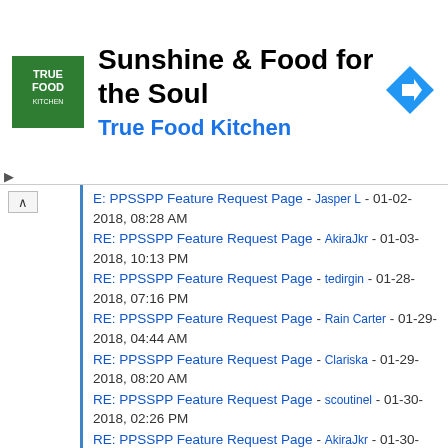[Figure (advertisement): True Food Kitchen ad banner with green logo, title 'Sunshine & Food for the Soul', subtitle 'True Food Kitchen', and blue navigation arrow icon]
E: PPSSPP Feature Request Page - Jasper L - 01-02-2018, 08:28 AM
RE: PPSSPP Feature Request Page - AkiraJkr - 01-03-2018, 10:13 PM
RE: PPSSPP Feature Request Page - tedirgin - 01-28-2018, 07:16 PM
RE: PPSSPP Feature Request Page - Rain Carter - 01-29-2018, 04:44 AM
RE: PPSSPP Feature Request Page - Clariska - 01-29-2018, 08:20 AM
RE: PPSSPP Feature Request Page - scoutinel - 01-30-2018, 02:26 PM
RE: PPSSPP Feature Request Page - AkiraJkr - 01-30-2018, 06:21 PM
RE: PPSSPP Feature Request Page - sohail_tekken - 01-31-2018, 05:15 AM
RE: PPSSPP Feature Request Page - Smoker1 - 02-22-2018, 03:28 AM
RE: PPSSPP Feature Request Page - AkiraJkr - 03-12-2018, 10:46 PM
RE: PPSSPP Feature Request Page - the end - 03-18-2018, 09:57 AM
RE: PPSSPP Feature Request Page - automata13 - 03-21-2018, 12:05 PM
RE: PPSSPP Feature Request Page - xnamkcor - 04-08-2018, 10:05 PM